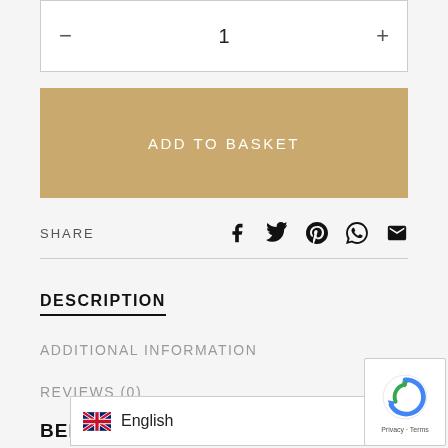- 1 +
ADD TO BASKET
SHARE
[Figure (infographic): Social share icons: Facebook, Twitter, Pinterest, WhatsApp, Email]
DESCRIPTION
ADDITIONAL INFORMATION
REVIEWS (0)
BENEFITS
English
[Figure (logo): reCAPTCHA badge with privacy and terms text]